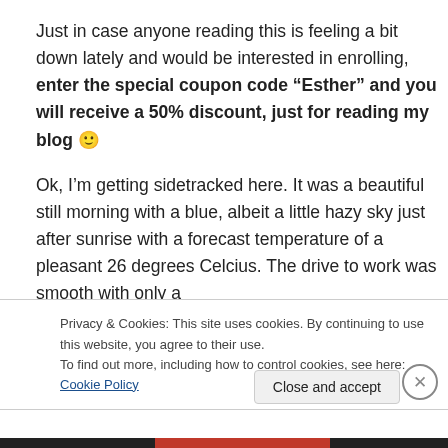Just in case anyone reading this is feeling a bit down lately and would be interested in enrolling, enter the special coupon code “Esther” and you will receive a 50% discount, just for reading my blog 🙂
Ok, I’m getting sidetracked here. It was a beautiful still morning with a blue, albeit a little hazy sky just after sunrise with a forecast temperature of a pleasant 26 degrees Celcius. The drive to work was smooth with only a
Privacy & Cookies: This site uses cookies. By continuing to use this website, you agree to their use.
To find out more, including how to control cookies, see here: Cookie Policy